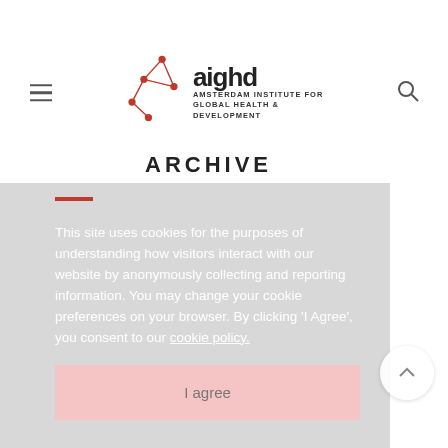[Figure (logo): aighd Amsterdam Institute for Global Health & Development logo with red network/node graphic]
ARCHIVE
This site uses cookies for the purposes of understanding how visitors interact with our website by anonymously collecting and reporting information. You may change your cookie preferences on your browser. By clicking 'I Agree', you consent to our cookie policy.
I agree